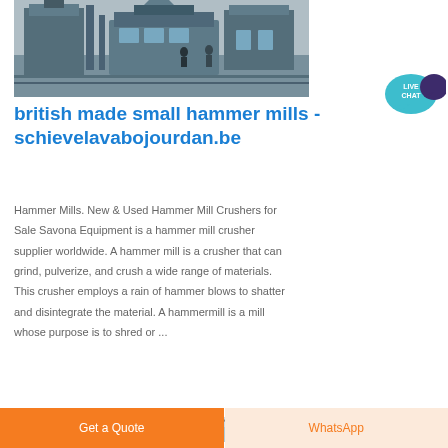[Figure (photo): Industrial hammer mill machinery inside a factory building, showing large equipment structures with workers visible in background]
british made small hammer mills - schievelavabojourdan.be
[Figure (other): Live Chat badge - teal speech bubble with LIVE CHAT text and dark purple chat bubble icon]
Hammer Mills. New & Used Hammer Mill Crushers for Sale Savona Equipment is a hammer mill crusher supplier worldwide. A hammer mill is a crusher that can grind, pulverize, and crush a wide range of materials. This crusher employs a rain of hammer blows to shatter and disintegrate the material. A hammermill is a mill whose purpose is to shred or ...
[Figure (photo): Partial image of industrial machinery with blue sky background, bottom of page]
Get a Quote
WhatsApp